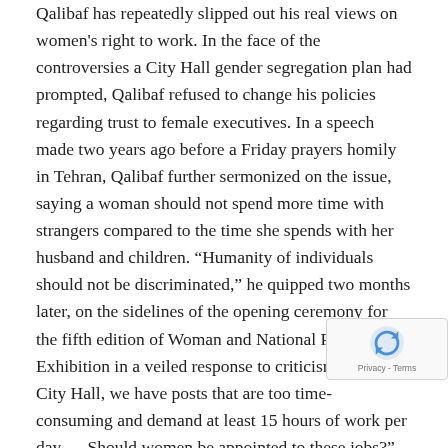Qalibaf has repeatedly slipped out his real views on women's right to work. In the face of the controversies a City Hall gender segregation plan had prompted, Qalibaf refused to change his policies regarding trust to female executives. In a speech made two years ago before a Friday prayers homily in Tehran, Qalibaf further sermonized on the issue, saying a woman should not spend more time with strangers compared to the time she spends with her husband and children. “Humanity of individuals should not be discriminated,” he quipped two months later, on the sidelines of the opening ceremony for the fifth edition of Woman and National Production Exhibition in a veiled response to criticisms. “In the City Hall, we have posts that are too time-consuming and demand at least 15 hours of work per day … Should women be appointed to these jobs?”
That best explains why many consider his new appointment a political pretention. Qalibaf’s rule over the City Hall is e… to end in 9 months in the light of a fresh city council ele… Tehran, where a Principlist coalition was crushed in Febr… with its opponents winning all the seats available in the…